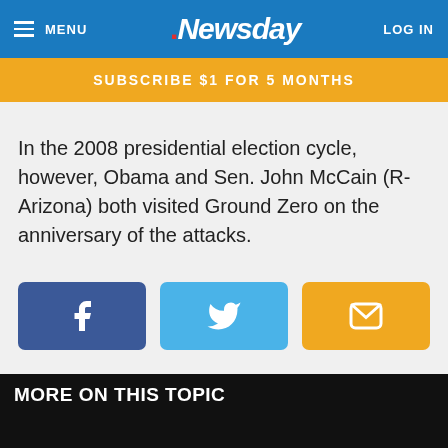MENU | Newsday | LOG IN
SUBSCRIBE $1 FOR 5 MONTHS
In the 2008 presidential election cycle, however, Obama and Sen. John McCain (R-Arizona) both visited Ground Zero on the anniversary of the attacks.
[Figure (infographic): Three social sharing buttons: Facebook (dark blue), Twitter (light blue), Email (orange)]
MORE ON THIS TOPIC
[Figure (photo): Advertisement banner for Westbury Jeep with $0 down payment and New 2022 Jeep promotion on dark background]